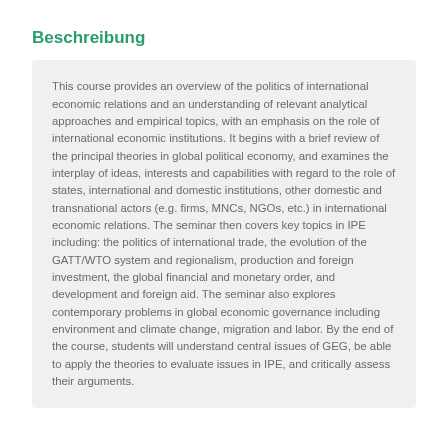Beschreibung
This course provides an overview of the politics of international economic relations and an understanding of relevant analytical approaches and empirical topics, with an emphasis on the role of international economic institutions. It begins with a brief review of the principal theories in global political economy, and examines the interplay of ideas, interests and capabilities with regard to the role of states, international and domestic institutions, other domestic and transnational actors (e.g. firms, MNCs, NGOs, etc.) in international economic relations. The seminar then covers key topics in IPE including: the politics of international trade, the evolution of the GATT/WTO system and regionalism, production and foreign investment, the global financial and monetary order, and development and foreign aid. The seminar also explores contemporary problems in global economic governance including environment and climate change, migration and labor. By the end of the course, students will understand central issues of GEG, be able to apply the theories to evaluate issues in IPE, and critically assess their arguments.